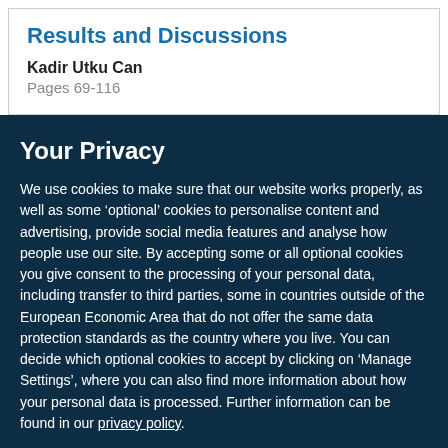Results and Discussions
Kadir Utku Can
Pages 69-116
Your Privacy
We use cookies to make sure that our website works properly, as well as some ‘optional’ cookies to personalise content and advertising, provide social media features and analyse how people use our site. By accepting some or all optional cookies you give consent to the processing of your personal data, including transfer to third parties, some in countries outside of the European Economic Area that do not offer the same data protection standards as the country where you live. You can decide which optional cookies to accept by clicking on ‘Manage Settings’, where you can also find more information about how your personal data is processed. Further information can be found in our privacy policy.
Accept all cookies
Manage preferences